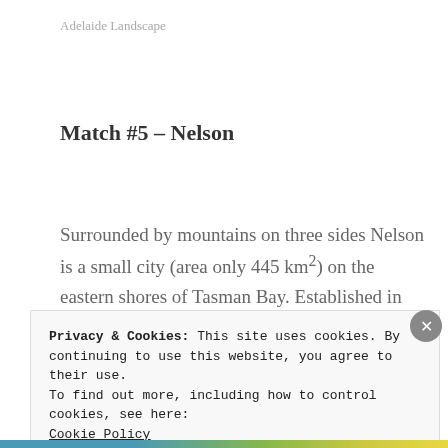Adelaide Landscape
Match #5 – Nelson
Surrounded by mountains on three sides Nelson is a small city (area only 445 km²) on the eastern shores of Tasman Bay. Established in 1841, it is the second-oldest settled city in New Zealand. The city is
Privacy & Cookies: This site uses cookies. By continuing to use this website, you agree to their use.
To find out more, including how to control cookies, see here:
Cookie Policy
[Close and accept]